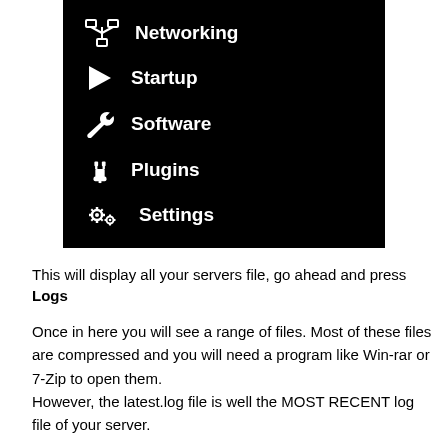[Figure (screenshot): A dark/black UI menu panel showing navigation items: Networking (network icon), Startup (play triangle icon), Software (wrench icon), Plugins (plug icon), Settings (gear icons)]
This will display all your servers file, go ahead and press Logs
Once in here you will see a range of files. Most of these files are compressed and you will need a program like Win-rar or 7-Zip to open them.
However, the latest.log file is well the MOST RECENT log file of your server.